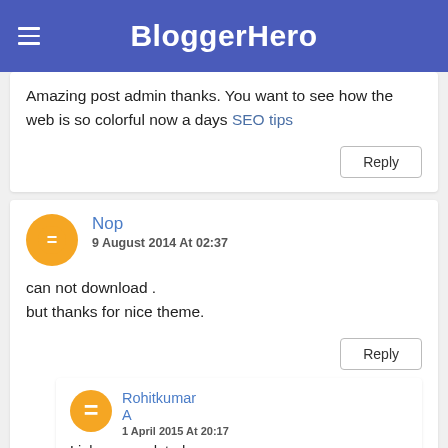BloggerHero
Amazing post admin thanks. You want to see how the web is so colorful now a days SEO tips
Reply
Nop  9 August 2014 At 02:37
can not download .
but thanks for nice theme.
Reply
Rohitkumar A  1 April 2015 At 20:17
Links are updated